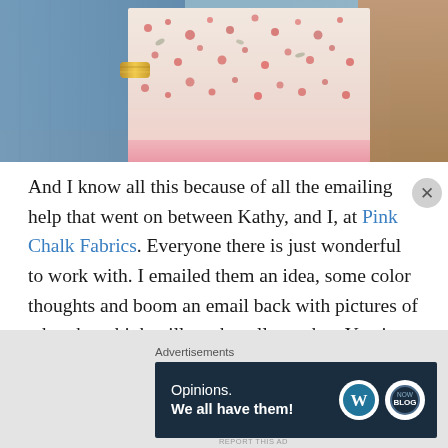[Figure (photo): Close-up photo of a person holding a floral fabric/quilt with pink and red flower pattern, the person is wearing a blue garment and a gold bracelet]
And I know all this because of all the emailing help that went on between Kathy, and I, at Pink Chalk Fabrics. Everyone there is just wonderful to work with. I emailed them an idea, some color thoughts and boom an email back with pictures of what they think will work well together. You just can't beat help like that!
Advertisements
[Figure (screenshot): Advertisement banner with dark navy background showing 'Opinions. We all have them!' text with WordPress logo and another circular logo]